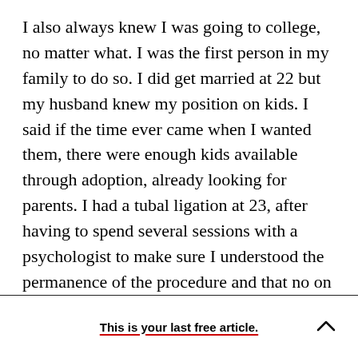I also always knew I was going to college, no matter what. I was the first person in my family to do so. I did get married at 22 but my husband knew my position on kids. I said if the time ever came when I wanted them, there were enough kids available through adoption, already looking for parents. I had a tubal ligation at 23, after having to spend several sessions with a psychologist to make sure I understood the permanence of the procedure and that no on was forcing me to do it.
This is your last free article.